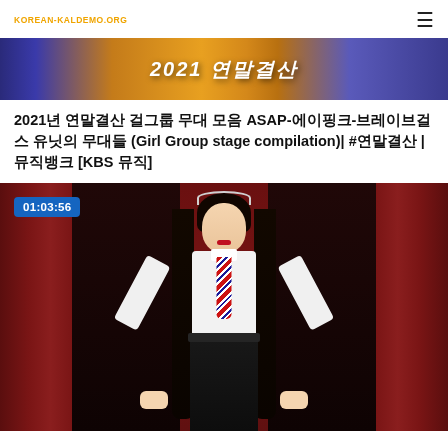korean-kaldemo.org
[Figure (screenshot): Top thumbnail banner showing stylized text '2021 연말결산' in a colorful banner image]
2021년 연말결산 걸그룹 무대 모음 ASAP-에이핑크-브레이브걸스 유닛의 무대들 (Girl Group stage compilation)| #연말결산 | 뮤직뱅크 [KBS 뮤직]
[Figure (screenshot): Video thumbnail showing a young woman in school uniform with white shirt, red striped tie, black skirt with chain belt accessory, and tiara in long dark twin-tails hairstyle, posed against a red curtain backdrop. Duration badge shows 01:03:56.]